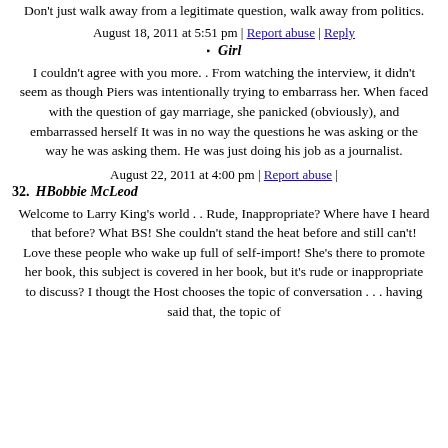Don't just walk away from a legitimate question, walk away from politics.
August 18, 2011 at 5:51 pm | Report abuse | Reply
Girl
I couldn't agree with you more. . From watching the interview, it didn't seem as though Piers was intentionally trying to embarrass her. When faced with the question of gay marriage, she panicked (obviously), and embarrassed herself It was in no way the questions he was asking or the way he was asking them. He was just doing his job as a journalist.
August 22, 2011 at 4:00 pm | Report abuse |
32. HBobbie McLeod
Welcome to Larry King's world . . Rude, Inappropriate? Where have I heard that before? What BS! She couldn't stand the heat before and still can't! Love these people who wake up full of self-import! She's there to promote her book, this subject is covered in her book, but it's rude or inappropriate to discuss? I thougt the Host chooses the topic of conversation . . . having said that, the topic of